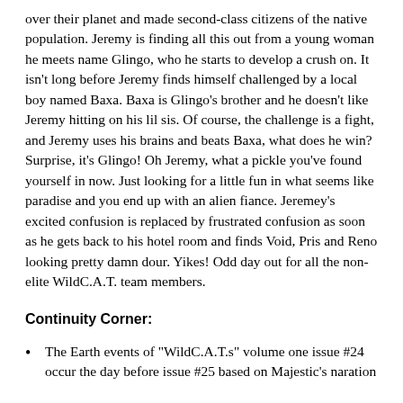over their planet and made second-class citizens of the native population. Jeremy is finding all this out from a young woman he meets name Glingo, who he starts to develop a crush on. It isn't long before Jeremy finds himself challenged by a local boy named Baxa. Baxa is Glingo's brother and he doesn't like Jeremy hitting on his lil sis. Of course, the challenge is a fight, and Jeremy uses his brains and beats Baxa, what does he win? Surprise, it's Glingo! Oh Jeremy, what a pickle you've found yourself in now. Just looking for a little fun in what seems like paradise and you end up with an alien fiance. Jeremey's excited confusion is replaced by frustrated confusion as soon as he gets back to his hotel room and finds Void, Pris and Reno looking pretty damn dour. Yikes! Odd day out for all the non-elite WildC.A.T. team members.
Continuity Corner:
The Earth events of "WildC.A.T.s" volume one issue #24 occur the day before issue #25 based on Majestic's naration